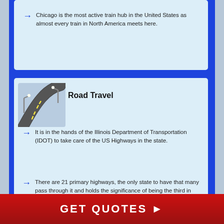[Figure (infographic): Infographic page about Illinois transportation and cities. Shows partial train section at top with blue arrow bullet: 'Chicago is the most active train hub in the United States as almost every train in North America meets here.' Below is a Road Travel section with road icon, bold heading, and two blue arrow bullets about IDOT and Illinois highways. Bottom section shows 'Best Cities to Live in Illinois' title banner on light blue background. Red footer bar with 'GET QUOTES ►'.]
Chicago is the most active train hub in the United States as almost every train in North America meets here.
Road Travel
It is in the hands of the Illinois Department of Transportation (IDOT) to take care of the US Highways in the state.
There are 21 primary highways, the only state to have that many pass through it and holds the significance of being the third in terms of highway mileage.
Best Cities to Live in Illinois
GET QUOTES ►